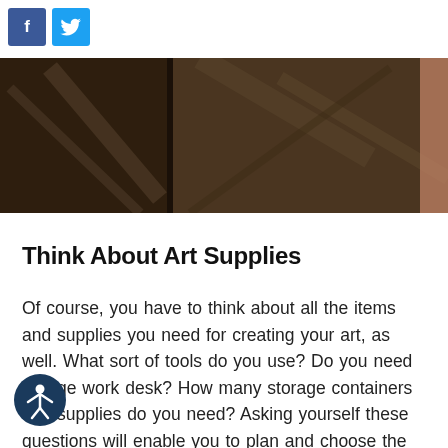[Figure (other): Social media share buttons: Facebook (blue square with 'f') and Twitter (light blue square with bird icon)]
[Figure (photo): Dark brown photograph showing what appears to be a floor or surface with wooden or stone elements, partially lit]
Think About Art Supplies
Of course, you have to think about all the items and supplies you need for creating your art, as well. What sort of tools do you use? Do you need a large work desk? How many storage containers and supplies do you need? Asking yourself these questions will enable you to plan and choose the space in your home for your studio. Make a list of essentials and continue from there. Make